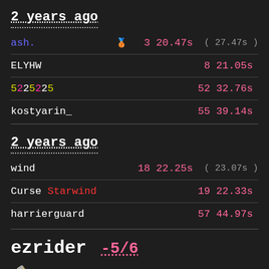2 years ago
ash.  3  20.47s ( 27.47s )
ELYHW  8  21.05s
5225225  52  32.76s
kostyarin_  55  39.14s
2 years ago
wind  18  22.25s ( 23.07s )
Curse Starwind  19  22.33s
harrierguard  57  44.97s
ezrider -5/6
[Figure (illustration): Pencil/pen tool icon in gold/yellow color]
Available on server: Relaxed Running